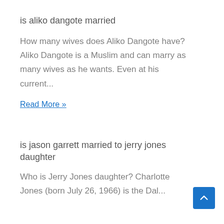is aliko dangote married
How many wives does Aliko Dangote have? Aliko Dangote is a Muslim and can marry as many wives as he wants. Even at his current...
Read More »
is jason garrett married to jerry jones daughter
Who is Jerry Jones daughter? Charlotte Jones (born July 26, 1966) is the Dal...